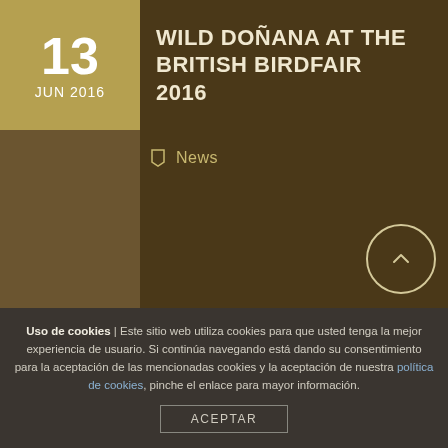WILD DOÑANA AT THE BRITISH BIRDFAIR 2016
News
[Figure (illustration): Dark brown background image area representing a nature/wildlife scene for the Wild Doñana article, with a scroll-to-top circle button in the lower right]
Uso de cookies | Este sitio web utiliza cookies para que usted tenga la mejor experiencia de usuario. Si continúa navegando está dando su consentimiento para la aceptación de las mencionadas cookies y la aceptación de nuestra política de cookies, pinche el enlace para mayor información.
ACEPTAR